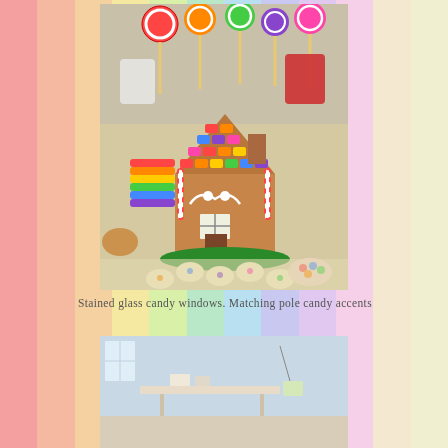[Figure (photo): A colorful gingerbread house with rainbow candy roof tiles, candy cane pole accents, white icing decorations, heart-shaped cookies arranged in front, lollipops and candy displays in the background on a table.]
Stained glass candy windows. Matching pole candy accents
[Figure (photo): Partial view of a room interior with light blue walls, shelving or furniture visible.]